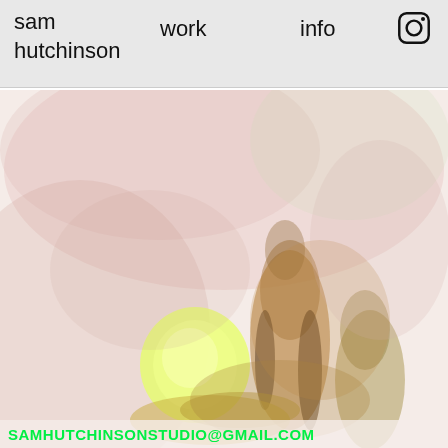sam hutchinson   work   info
[Figure (illustration): Soft watercolor/pencil artwork showing abstract organic forms with yellow-green circular shape and golden-brown columnar forms against a pale pink-beige background]
SAMHUTCHINSONSTUDIO@GMAIL.COM